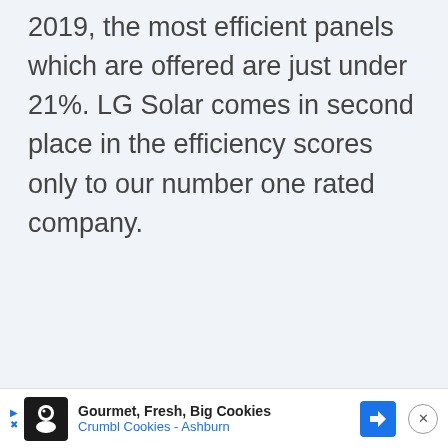2019, the most efficient panels which are offered are just under 21%. LG Solar comes in second place in the efficiency scores only to our number one rated company.
[Figure (other): Advertisement banner at the bottom of the page showing a Crumbl Cookies ad with logo, text 'Gourmet, Fresh, Big Cookies' and 'Crumbl Cookies - Ashburn', a blue navigation icon, and a close button.]